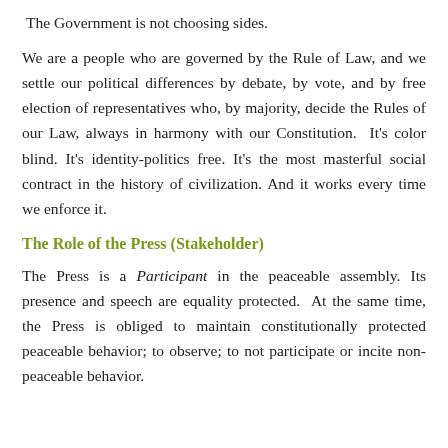The Government is not choosing sides.
We are a people who are governed by the Rule of Law, and we settle our political differences by debate, by vote, and by free election of representatives who, by majority, decide the Rules of our Law, always in harmony with our Constitution.  It's color blind.  It's identity-politics free.  It's the most masterful social contract in the history of civilization.  And it works every time we enforce it.
The Role of the Press (Stakeholder)
The Press is a Participant in the peaceable assembly.  Its presence and speech are equality protected.  At the same time, the Press is obliged to maintain constitutionally protected peaceable behavior; to observe; to not participate or incite non-peaceable behavior.